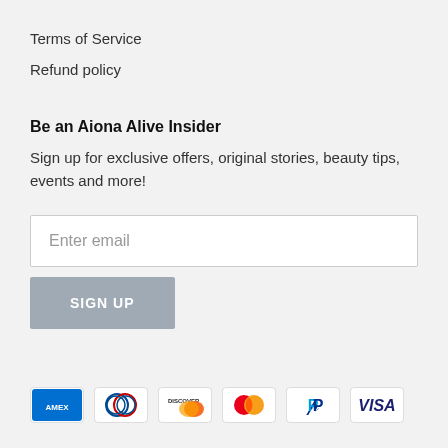Terms of Service
Refund policy
Be an Aiona Alive Insider
Sign up for exclusive offers, original stories, beauty tips, events and more!
Enter email
SIGN UP
[Figure (other): Payment method icons: American Express, Diners Club, Discover, Mastercard, PayPal, Visa]